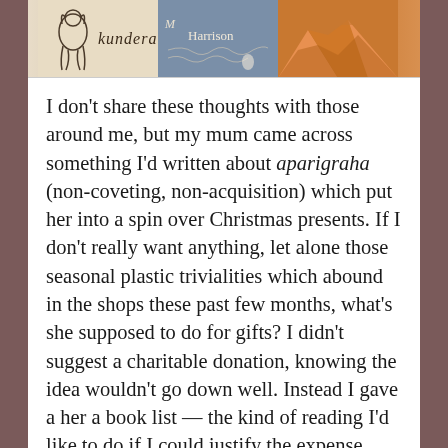[Figure (photo): Top portion of book covers showing names 'kundera' and 'Harrison' with illustrated cover art including a dog sketch, map-like imagery, and mountain landscape]
I don't share these thoughts with those around me, but my mum came across something I'd written about aparigraha (non-coveting, non-acquisition) which put her into a spin over Christmas presents. If I don't really want anything, let alone those seasonal plastic trivialities which abound in the shops these past few months, what's she supposed to do for gifts? I didn't suggest a charitable donation, knowing the idea wouldn't go down well. Instead I gave a her a book list — the kind of reading I'd like to do if I could justify the expense easily for what might be one-off reads rather than long-lasting reference works.